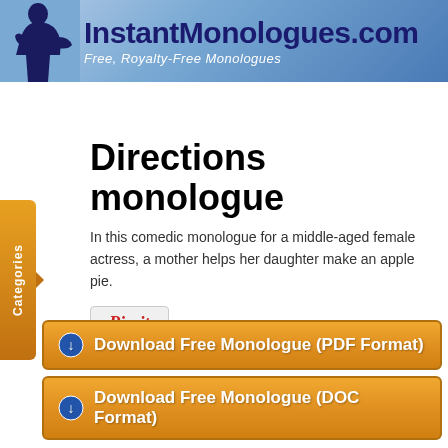[Figure (logo): InstantMonologues.com website header banner with silhouette of person and text 'InstantMonologues.com' and subtitle 'Free, Royalty-Free Monologues']
Directions monologue
In this comedic monologue for a middle-aged female actress, a mother helps her daughter make an apple pie.
[Figure (other): Pin it button]
Download Free Monologue (PDF Format)
Download Free Monologue (DOC Format)